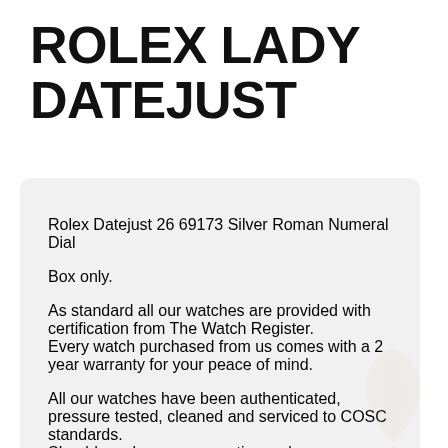ROLEX LADY DATEJUST
Rolex Datejust 26 69173 Silver Roman Numeral Dial

Box only.

As standard all our watches are provided with certification from The Watch Register.
Every watch purchased from us comes with a 2 year warranty for your peace of mind.

All our watches have been authenticated, pressure tested, cleaned and serviced to COSC standards.
Should you have any questions, please